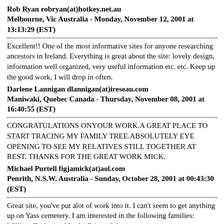Rob Ryan robryan(at)hotkey.net.au Melbourne, Vic Australia - Monday, November 12, 2001 at 13:13:29 (EST)
Excellent!! One of the most informative sites for anyone researching ancestors in Ireland. Everything is great about the site: lovely design, information well organized, very useful information etc. etc. Keep up the good work. I will drop in often.
Darlene Lannigan dlannigan(at)ireseau.com Maniwaki, Quebec Canada - Thursday, November 08, 2001 at 16:40:55 (EST)
CONGRATULATIONS ONYOUR WORK.A GREAT PLACE TO START TRACING MY FAMILY TREE.ABSOLUTELY EYE OPENING TO SEE MY RELATIVES STILL TOGETHER AT REST. THANKS FOR THE GREAT WORK MICK.
Michael Purtell figjamick(at)aol.com Penrith, N.S.W. Australia - Sunday, October 28, 2001 at 00:43:30 (EST)
Great site, you've put alot of work into it. I can't seem to get anything up on Yass cemetery. I am interested in the following families: William Eccles m. Martha Privett John